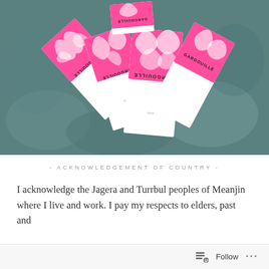[Figure (photo): Photo of multiple Gargouille magazine/booklet issues fanned out on a stone surface. The covers are white with pink floral designs and 'GARGOUILLE' text. The magazines are arranged in a fan/star pattern, with some upside down, showing the word GARGOUILLE from different angles.]
- ACKNOWLEDGEMENT OF COUNTRY -
I acknowledge the Jagera and Turrbul peoples of Meanjin where I live and work. I pay my respects to elders, past and
Follow ···